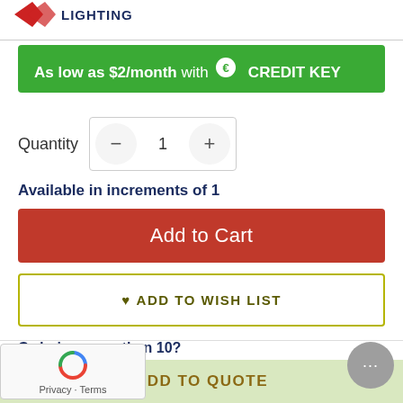[Figure (logo): Lighting company logo with red arrow and text LIGHTING]
As low as $2/month with CREDIT KEY
Quantity 1
Available in increments of 1
Add to Cart
ADD TO WISH LIST
Ordering more than 10?
Request a quote and we'll back to you with our lowest p
ADD TO QUOTE
Privacy · Terms